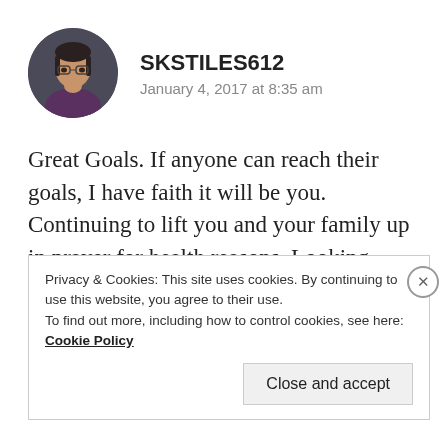[Figure (photo): Circular avatar photo of a woman with glasses and dark hair, wearing a purple top, with a dark background.]
SKSTILES612
January 4, 2017 at 8:35 am
Great Goals. If anyone can reach their goals, I have faith it will be you. Continuing to lift you and your family up in prayer for health reasons. Looking forward to your new series.
Privacy & Cookies: This site uses cookies. By continuing to use this website, you agree to their use.
To find out more, including how to control cookies, see here: Cookie Policy
Close and accept